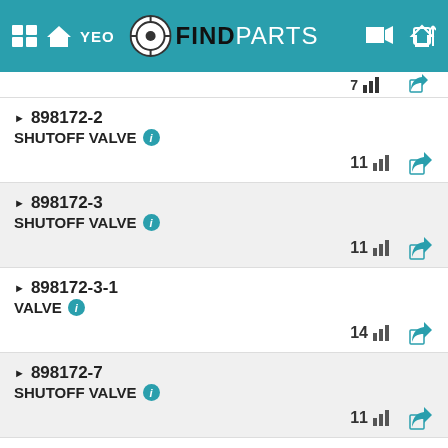FINDPARTS
898172-2 SHUTOFF VALVE — 11 suppliers
898172-3 SHUTOFF VALVE — 11 suppliers
898172-3-1 VALVE — 14 suppliers
898172-7 SHUTOFF VALVE — 11 suppliers
898172-7-1 VALVE — 12 suppliers
898172-8